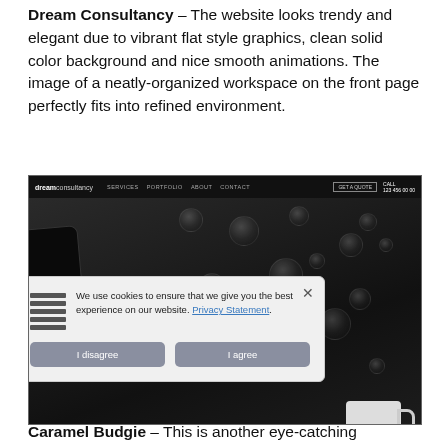Dream Consultancy – The website looks trendy and elegant due to vibrant flat style graphics, clean solid color background and nice smooth animations. The image of a neatly-organized workspace on the front page perfectly fits into refined environment.
[Figure (screenshot): Screenshot of the Dream Consultancy website with a dark background showing water droplets, a navigation bar at top, and a cookie consent modal overlay with 'I disagree' and 'I agree' buttons.]
Caramel Budgie – This is another eye-catching